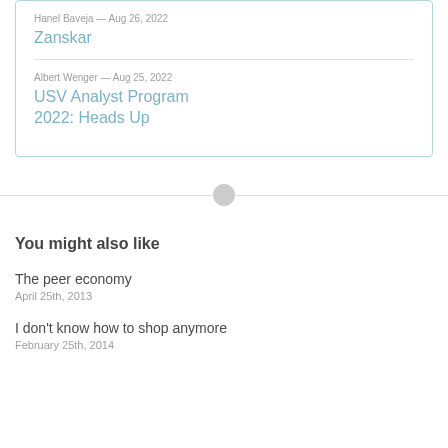Hanel Baveja — Aug 26, 2022
Zanskar
Albert Wenger — Aug 25, 2022
USV Analyst Program 2022: Heads Up
You might also like
The peer economy
April 25th, 2013
I don't know how to shop anymore
February 25th, 2014